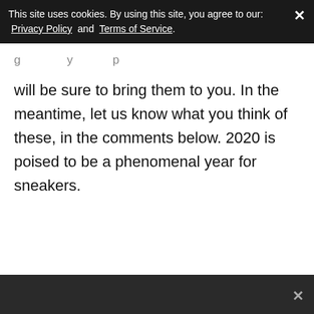This site uses cookies. By using this site, you agree to our: Privacy Policy and Terms of Service.
will be sure to bring them to you. In the meantime, let us know what you think of these, in the comments below. 2020 is poised to be a phenomenal year for sneakers.